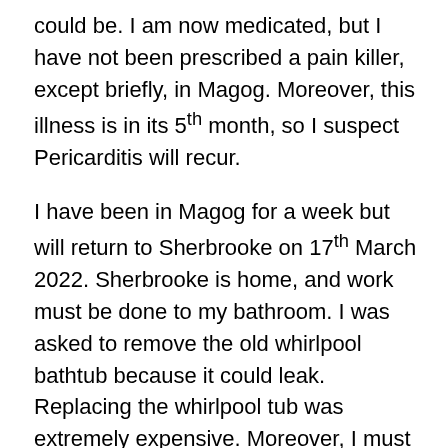could be. I am now medicated, but I have not been prescribed a pain killer, except briefly, in Magog. Moreover, this illness is in its 5th month, so I suspect Pericarditis will recur.

I have been in Magog for a week but will return to Sherbrooke on 17th March 2022. Sherbrooke is home, and work must be done to my bathroom. I was asked to remove the old whirlpool bathtub because it could leak. Replacing the whirlpool tub was extremely expensive. Moreover, I must fight the Domino effect. The faucets are different; a hand shower is included. The tub surround was wood, which will not do unless the wood is treated. I considered buying an oval shower rod. But my idea was not popular. I should also replace the large vanity, the shower, and everything else, to match the tub. I must resist.